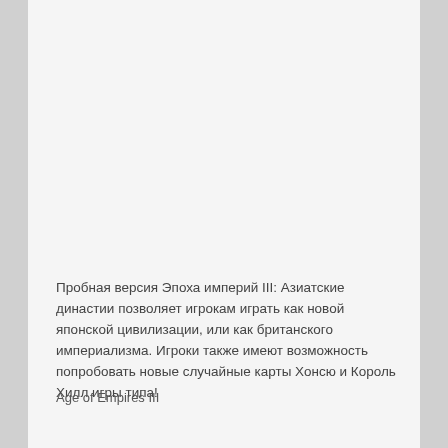Пробная версия Эпоха империй III: Азиатские династии позволяет игрокам играть как новой японской цивилизации, или как британского империализма. Игроки также имеют возможность попробовать новые случайные карты Хонсю и Король Хилл игры типа!
Age of Empires III